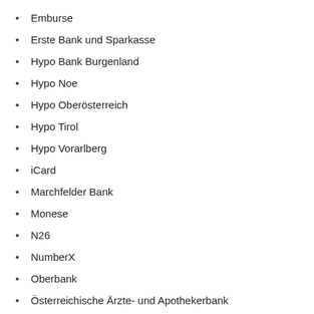Emburse
Erste Bank und Sparkasse
Hypo Bank Burgenland
Hypo Noe
Hypo Oberösterreich
Hypo Tirol
Hypo Vorarlberg
iCard
Marchfelder Bank
Monese
N26
NumberX
Oberbank
Österreichische Ärzte- und Apothekerbank